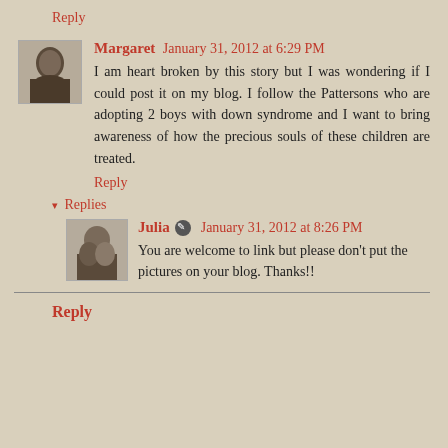Reply
Margaret  January 31, 2012 at 6:29 PM
I am heart broken by this story but I was wondering if I could post it on my blog. I follow the Pattersons who are adopting 2 boys with down syndrome and I want to bring awareness of how the precious souls of these children are treated.
Reply
Replies
[Figure (photo): Small avatar photo of user Margaret]
[Figure (photo): Small avatar photo of user Julia]
Julia  January 31, 2012 at 8:26 PM
You are welcome to link but please don't put the pictures on your blog. Thanks!!
Reply